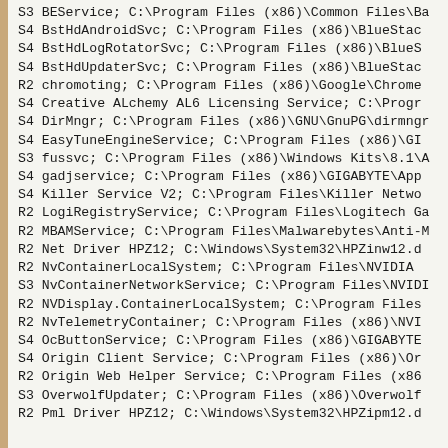S3 BEService; C:\Program Files (x86)\Common Files\Ba
S4 BstHdAndroidSvc; C:\Program Files (x86)\BleSta
S4 BstHdLogRotatorSvc; C:\Program Files (x86)\BlueS
S4 BstHdUpdaterSvc; C:\Program Files (x86)\BlueStac
R2 chromoting; C:\Program Files (x86)\Google\Chrome
S4 Creative ALchemy AL6 Licensing Service; C:\Progr
S4 DirMngr; C:\Program Files (x86)\GNU\GnuPG\dirmng
S4 EasyTuneEngineService; C:\Program Files (x86)\GI
S3 fussvc; C:\Program Files (x86)\Windows Kits\8.1\A
S4 gadjservice; C:\Program Files (x86)\GIGABYTE\App
S4 Killer Service V2; C:\Program Files\Killer Netwo
R2 LogiRegistryService; C:\Program Files\Logitech Ga
R2 MBAMService; C:\Program Files\Malwarebytes\Anti-M
R2 Net Driver HPZ12; C:\Windows\System32\HPZinw12.d
R2 NvContainerLocalSystem; C:\Program Files\NVIDIA
S3 NvContainerNetworkService; C:\Program Files\NVIDI
R2 NVDisplay.ContainerLocalSystem; C:\Program Files
R2 NvTelemetryContainer; C:\Program Files (x86)\NVI
S4 OcButtonService; C:\Program Files (x86)\GIGABYTE
S4 Origin Client Service; C:\Program Files (x86)\Or
R2 Origin Web Helper Service; C:\Program Files (x86
S3 OverwolfUpdater; C:\Program Files (x86)\Overwolf
R2 Pml Driver HPZ12; C:\Windows\System32\HPZipm12.d